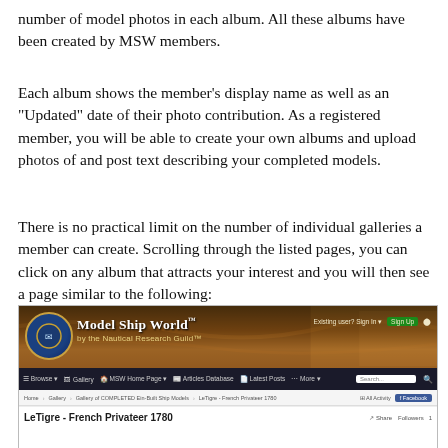number of model photos in each album. All these albums have been created by MSW members.
Each album shows the member's display name as well as an "Updated" date of their photo contribution. As a registered member, you will be able to create your own albums and upload photos of and post text describing your completed models.
There is no practical limit on the number of individual galleries a member can create. Scrolling through the listed pages, you can click on any album that attracts your interest and you will then see a page similar to the following:
[Figure (screenshot): Screenshot of the Model Ship World website showing the header with logo and navigation, breadcrumb trail showing 'Gallery of COMPLETED Ein-Built Ship Models > LeTigre - French Privateer 1780', and an album title 'LeTigre - French Privateer 1780']